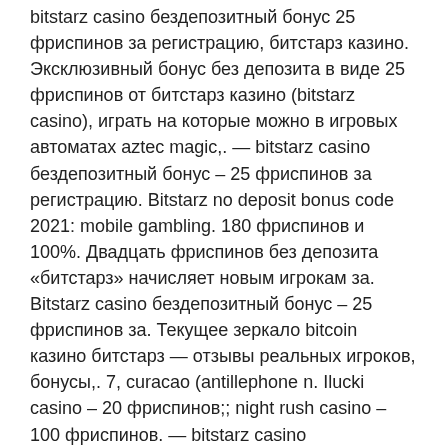bitstarz casino бездепозитный бонус 25 фриспинов за регистрацию, битстарз казино. Эксклюзивный бонус без депозита в виде 25 фриспинов от битстарз казино (bitstarz casino), играть на которые можно в игровых автоматах aztec magic,. — bitstarz casino бездепозитный бонус – 25 фриспинов за регистрацию. Bitstarz no deposit bonus code 2021: mobile gambling. 180 фриспинов и 100%. Двадцать фриспинов без депозита «битстарз» начисляет новым игрокам за. Bitstarz casino бездепозитный бонус – 25 фриспинов за. Текущее зеркало bitcoin казино битстарз — отзывы реальных игроков, бонусы,. 7, curacao (antillephone n. Ilucki casino – 20 фриспинов;; night rush casino – 100 фриспинов. — bitstarz casino бездепозитный бонус – 25 фриспинов